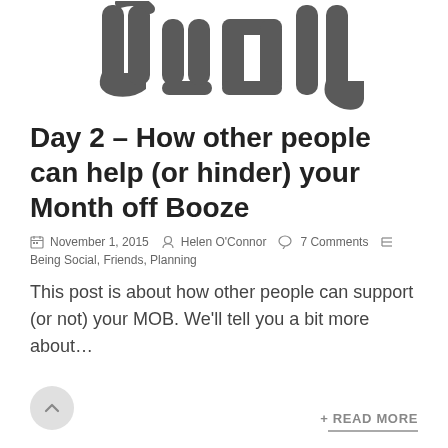[Figure (logo): Stylized logo or decorative graphic with bold dark grey abstract letterforms on white background, cropped at top]
Day 2 – How other people can help (or hinder) your Month off Booze
November 1, 2015  Helen O'Connor  7 Comments  Being Social, Friends, Planning
This post is about how other people can support (or not) your MOB. We'll tell you a bit more about…
+ READ MORE